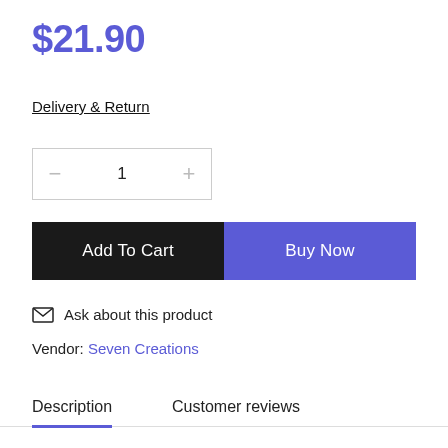$21.90
Delivery & Return
[Figure (other): Quantity selector with minus button, value 1, and plus button]
[Figure (other): Add To Cart button (black) and Buy Now button (purple)]
Ask about this product
Vendor: Seven Creations
Description   Customer reviews
An affordable and easy to use ...